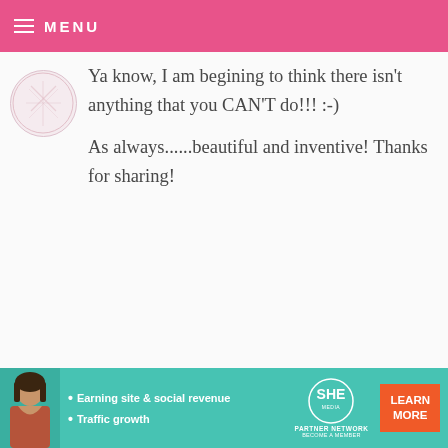≡ MENU
Ya know, I am begining to think there isn't anything that you CAN'T do!!! :-) As always......beautiful and inventive! Thanks for sharing!
MICHELLE — FEBRUARY 2, 2009 @ 8:25 PM
REPLY
that is gorgeous, you are amazing.
[Figure (other): Advertisement banner for SHE Partner Network with photo of woman, text about Earning site & social revenue and Traffic growth, and Learn More button]